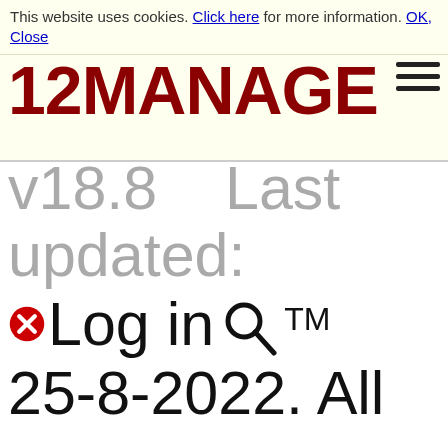This website uses cookies. Click here for more information. OK, Close
[Figure (logo): 12MANAGE logo in dark red bold text with hamburger menu icon]
v18.8   Last updated: 25-8-2022. All names of their owners. ™